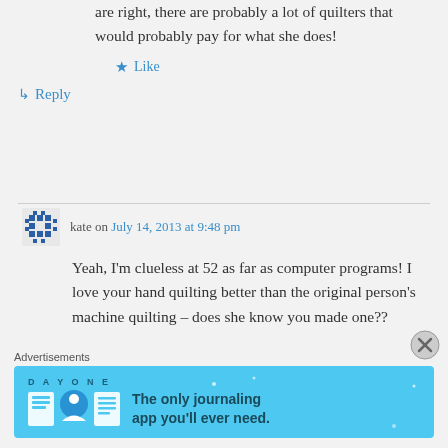are right, there are probably a lot of quilters that would probably pay for what she does!
Like
Reply
kate on July 14, 2013 at 9:48 pm
Yeah, I'm clueless at 52 as far as computer programs! I love your hand quilting better than the original person's machine quilting – does she know you made one??
Advertisements
[Figure (screenshot): DAY ONE journaling app advertisement banner with text 'The only journaling app you'll ever need.']